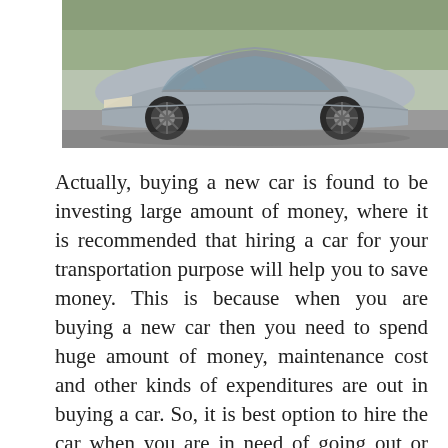[Figure (photo): A silver/grey futuristic concept sports car photographed from a front-side angle on a road with greenery in the background.]
Actually, buying a new car is found to be investing large amount of money, where it is recommended that hiring a car for your transportation purpose will help you to save money. This is because when you are buying a new car then you need to spend huge amount of money, maintenance cost and other kinds of expenditures are out in buying a car. So, it is best option to hire the car when you are in need of going out or planning for trip where this would save money, time and effort spending on driving and maintaining the car. When you are leasing a car through a business contractor, then